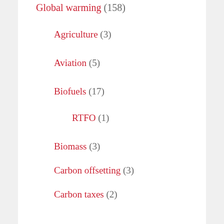Global warming (158)
Agriculture (3)
Aviation (5)
Biofuels (17)
RTFO (1)
Biomass (3)
Carbon offsetting (3)
Carbon taxes (2)
Effects (17)
Heatwaves (7)
Energy (23)
Coal (2)
Electricity (?)